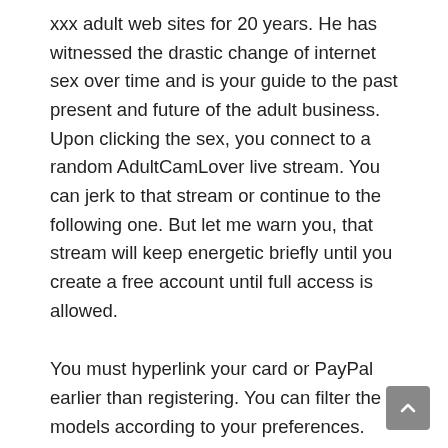xxx adult web sites for 20 years. He has witnessed the drastic change of internet sex over time and is your guide to the past present and future of the adult business. Upon clicking the sex, you connect to a random AdultCamLover live stream. You can jerk to that stream or continue to the following one. But let me warn you, that stream will keep energetic briefly until you create a free account until full access is allowed.
You must hyperlink your card or PayPal earlier than registering. You can filter the models according to your preferences. There isn't only video, but additionally voice chat – a sort of unique function.
They're totally free and imitate your common experience with girls. Another disappointment regarding the AdultCamLover site is the shortage of free models and extremely brief trials to test their site before subscribing to their service. However, in case you are in search of something new to check out,